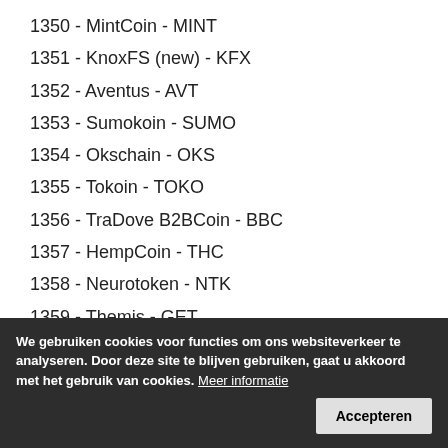1350 - MintCoin - MINT
1351 - KnoxFS (new) - KFX
1352 - Aventus - AVT
1353 - Sumokoin - SUMO
1354 - Okschain - OKS
1355 - Tokoin - TOKO
1356 - TraDove B2BCoin - BBC
1357 - HempCoin - THC
1358 - Neurotoken - NTK
1359 - Themis - GET
1360 - Swapcoinz - SPAZ
1361 - Antiample - XAMP
1362 - Social Send - SEND
1363 - [obscured]
1364 - Digital Gold - GOLD
1365 - Vidya - VIDYA
1366 - Friendz - FDZ
We gebruiken cookies voor functies om ons websiteverkeer te analyseren. Door deze site te blijven gebruiken, gaat u akkoord met het gebruik van cookies. Meer informatie